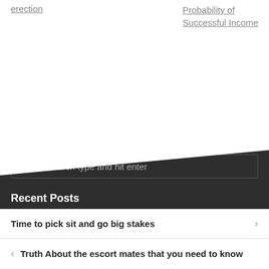erection
Probability of Successful Income
[Figure (illustration): Dark diagonal banner/divider shape transitioning from white top to dark gray bottom section]
To search type and hit enter
Recent Posts
Time to pick sit and go big stakes
Truth About the escort mates that you need to know